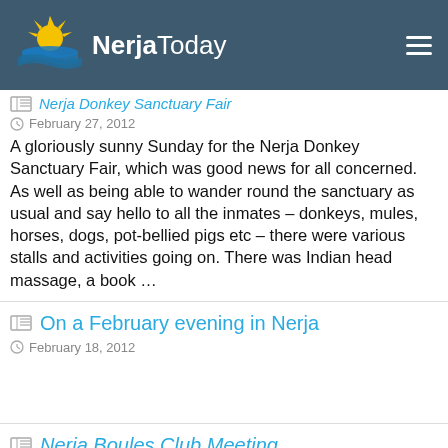NerjaToday
Nerja Donkey Sanctuary Fair
February 27, 2012
A gloriously sunny Sunday for the Nerja Donkey Sanctuary Fair, which was good news for all concerned. As well as being able to wander round the sanctuary as usual and say hello to all the inmates – donkeys, mules, horses, dogs, pot-bellied pigs etc – there were various stalls and activities going on. There was Indian head massage, a book ...
On a February evening in Nerja
February 18, 2012
Nerja Boules Club Meeting